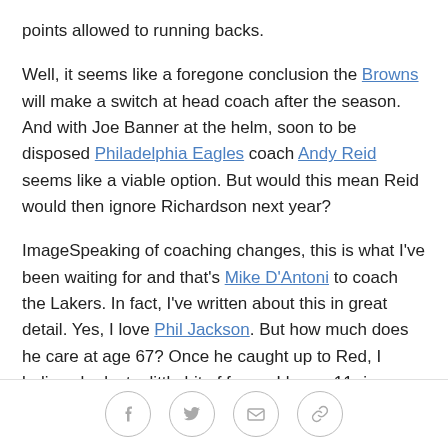points allowed to running backs.
Well, it seems like a foregone conclusion the Browns will make a switch at head coach after the season. And with Joe Banner at the helm, soon to be disposed Philadelphia Eagles coach Andy Reid seems like a viable option. But would this mean Reid would then ignore Richardson next year?
ImageSpeaking of coaching changes, this is what I've been waiting for and that's Mike D'Antoni to coach the Lakers. In fact, I've written about this in great detail. Yes, I love Phil Jackson. But how much does he care at age 67? Once he caught up to Red, I believe he lost a little bit of focus. I know, 11 rings. But I also remember the horrible 2011 season when the players tuned him
Social sharing icons: Facebook, Twitter, Email, Link